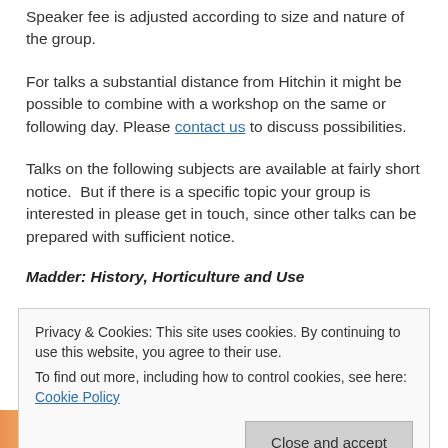Speaker fee is adjusted according to size and nature of the group.
For talks a substantial distance from Hitchin it might be possible to combine with a workshop on the same or following day. Please contact us to discuss possibilities.
Talks on the following subjects are available at fairly short notice. But if there is a specific topic your group is interested in please get in touch, since other talks can be prepared with sufficient notice.
Madder: History, Horticulture and Use
[Figure (photo): Partial colorful image strip at bottom left of page, partially obscured by cookie banner]
Privacy & Cookies: This site uses cookies. By continuing to use this website, you agree to their use. To find out more, including how to control cookies, see here: Cookie Policy